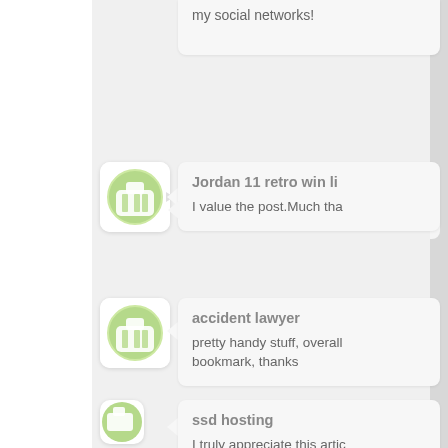my social networks!
Jordan 11 retro win li
I value the post.Much tha
accident lawyer
pretty handy stuff, overall bookmark, thanks
ssd hosting
I truly appreciate this artic on
i-140 approval notice